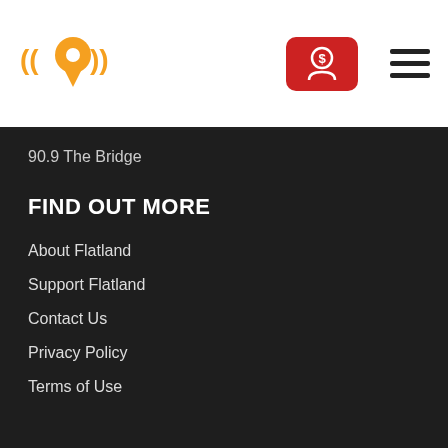[Figure (logo): Flatland radio station logo: orange location pin with radio waves, orange and white colors]
[Figure (other): Red donate button with person/dollar icon]
[Figure (other): Hamburger menu icon with three horizontal lines]
90.9 The Bridge
FIND OUT MORE
About Flatland
Support Flatland
Contact Us
Privacy Policy
Terms of Use